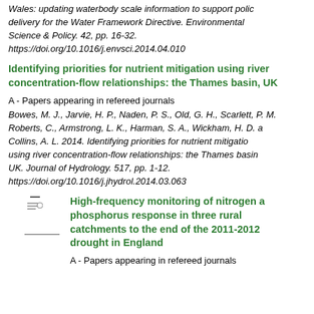Wales: updating waterbody scale information to support policy delivery for the Water Framework Directive. Environmental Science & Policy. 42, pp. 16-32. https://doi.org/10.1016/j.envsci.2014.04.010
Identifying priorities for nutrient mitigation using river concentration-flow relationships: the Thames basin, UK
A - Papers appearing in refereed journals
Bowes, M. J., Jarvie, H. P., Naden, P. S., Old, G. H., Scarlett, P. M., Roberts, C., Armstrong, L. K., Harman, S. A., Wickham, H. D. and Collins, A. L. 2014. Identifying priorities for nutrient mitigation using river concentration-flow relationships: the Thames basin, UK. Journal of Hydrology. 517, pp. 1-12. https://doi.org/10.1016/j.jhydrol.2014.03.063
High-frequency monitoring of nitrogen and phosphorus response in three rural catchments to the end of the 2011-2012 drought in England
A - Papers appearing in refereed journals